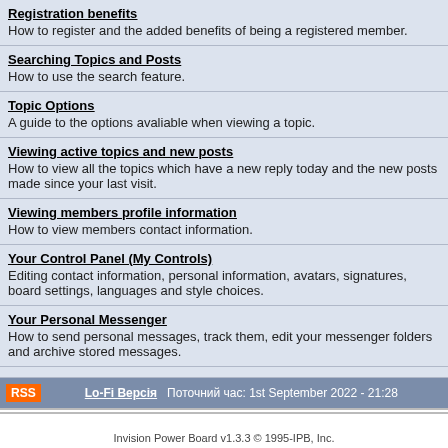Registration benefits
How to register and the added benefits of being a registered member.
Searching Topics and Posts
How to use the search feature.
Topic Options
A guide to the options avaliable when viewing a topic.
Viewing active topics and new posts
How to view all the topics which have a new reply today and the new posts made since your last visit.
Viewing members profile information
How to view members contact information.
Your Control Panel (My Controls)
Editing contact information, personal information, avatars, signatures, board settings, languages and style choices.
Your Personal Messenger
How to send personal messages, track them, edit your messenger folders and archive stored messages.
RSS  Lo-Fi Версія  Поточний час: 1st September 2022 - 21:28
Invision Power Board v1.3.3 © 1995-IPB, Inc.